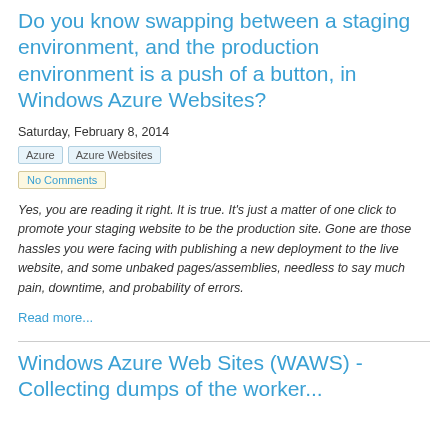Do you know swapping between a staging environment, and the production environment is a push of a button, in Windows Azure Websites?
Saturday, February 8, 2014
Azure
Azure Websites
No Comments
Yes, you are reading it right. It is true. It's just a matter of one click to promote your staging website to be the production site. Gone are those hassles you were facing with publishing a new deployment to the live website, and some unbaked pages/assemblies, needless to say much pain, downtime, and probability of errors.
Read more...
Windows Azure Web Sites (WAWS) - Collecting dumps of the worker...